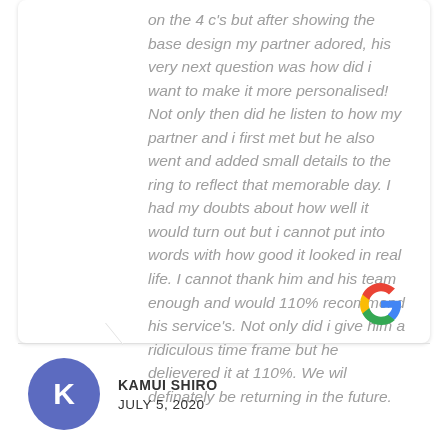on the 4 c's but after showing the base design my partner adored, his very next question was how did i want to make it more personalised! Not only then did he listen to how my partner and i first met but he also went and added small details to the ring to reflect that memorable day. I had my doubts about how well it would turn out but i cannot put into words with how good it looked in real life. I cannot thank him and his team enough and would 110% recommend his service's. Not only did i give him a ridiculous time frame but he delievered it at 110%. We wil definately be returning in the future.
[Figure (logo): Google 'G' logo in four colors: red, yellow, green, blue]
KAMUI SHIRO
JULY 5, 2020